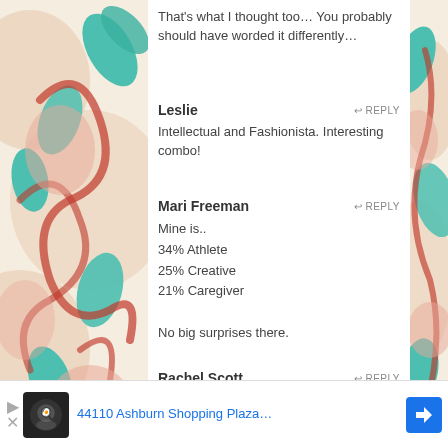That's what I thought too… You probably should have worded it differently…
Leslie · REPLY
Intellectual and Fashionista. Interesting combo!
Mari Freeman · REPLY
Mine is..
34% Athlete
25% Creative
21% Caregiver

No big surprises there.
Rachel Scott · REPLY
We're basically the same person…. 27% Caregiver, 27% Creative, 26% Intellectual
[Figure (screenshot): Ad banner: 44110 Ashburn Shopping Plaza... with navigation icon and directions arrow]